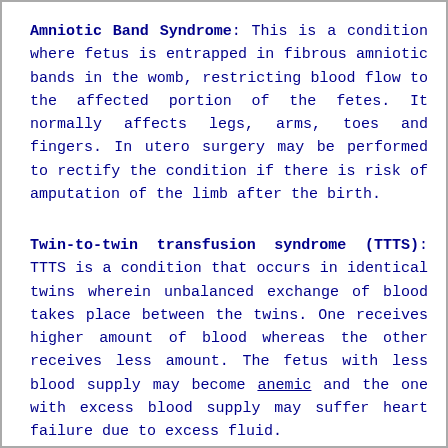Amniotic Band Syndrome: This is a condition where fetus is entrapped in fibrous amniotic bands in the womb, restricting blood flow to the affected portion of the fetes. It normally affects legs, arms, toes and fingers. In utero surgery may be performed to rectify the condition if there is risk of amputation of the limb after the birth.
Twin-to-twin transfusion syndrome (TTTS): TTTS is a condition that occurs in identical twins wherein unbalanced exchange of blood takes place between the twins. One receives higher amount of blood whereas the other receives less amount. The fetus with less blood supply may become anemic and the one with excess blood supply may suffer heart failure due to excess fluid.